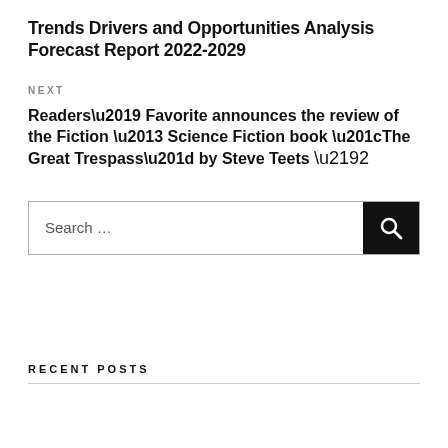Trends Drivers and Opportunities Analysis Forecast Report 2022-2029
NEXT
Readers’ Favorite announces the review of the Fiction – Science Fiction book “The Great Trespass” by Steve Teets →
Search …
RECENT POSTS